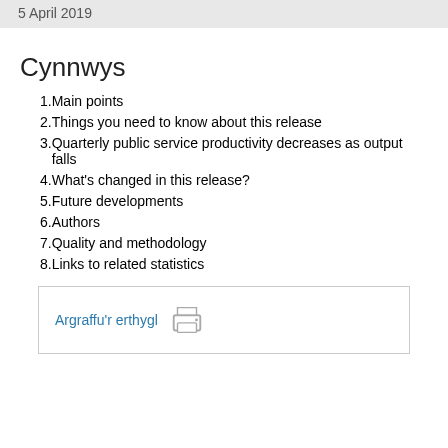5 April 2019
Cynnwys
1. Main points
2. Things you need to know about this release
3. Quarterly public service productivity decreases as output falls
4. What's changed in this release?
5. Future developments
6. Authors
7. Quality and methodology
8. Links to related statistics
Argraffu'r erthygl